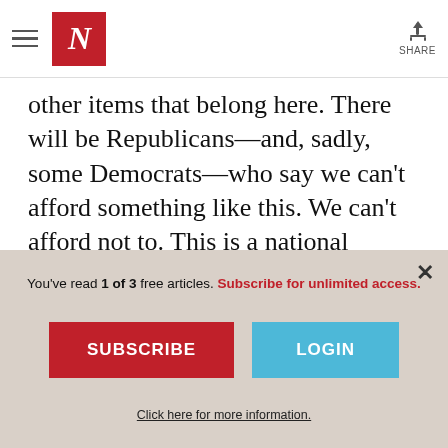The Nation — Navigation header with hamburger menu, N logo, and Share button
other items that belong here. There will be Republicans—and, sadly, some Democrats—who say we can't afford something like this. We can't afford not to. This is a national moment of reckoning.
DONATE NOW TO POWER THE NATION.
Readers like you make our independent
You've read 1 of 3 free articles. Subscribe for unlimited access.
SUBSCRIBE
LOGIN
Click here for more information.